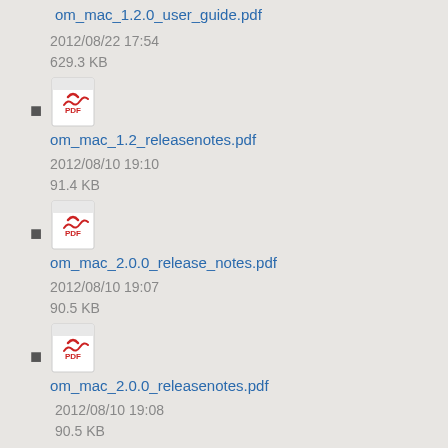om_mac_1.2.0_user_guide.pdf
2012/08/22 17:54
629.3 KB
om_mac_1.2_releasenotes.pdf
2012/08/10 19:10
91.4 KB
om_mac_2.0.0_release_notes.pdf
2012/08/10 19:07
90.5 KB
om_mac_2.0.0_releasenotes.pdf
2012/08/10 19:08
90.5 KB